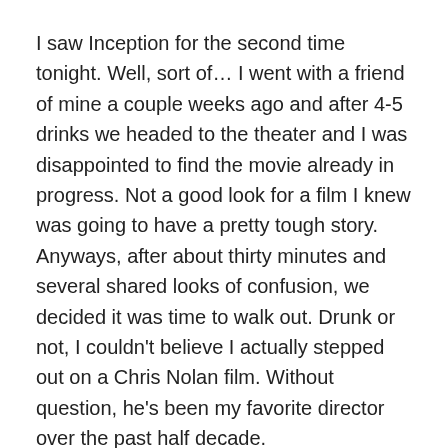I saw Inception for the second time tonight. Well, sort of… I went with a friend of mine a couple weeks ago and after 4-5 drinks we headed to the theater and I was disappointed to find the movie already in progress. Not a good look for a film I knew was going to have a pretty tough story. Anyways, after about thirty minutes and several shared looks of confusion, we decided it was time to walk out. Drunk or not, I couldn't believe I actually stepped out on a Chris Nolan film. Without question, he's been my favorite director over the past half decade.
Deep in my heart I knew something was amiss and with all the critical acclaim, word of mouth, and the filmmaker's background, it was time to give Inception another shot. I thought we had been about 15-20 minutes late the first time I went to see it, but after it took 90 minutes for me to